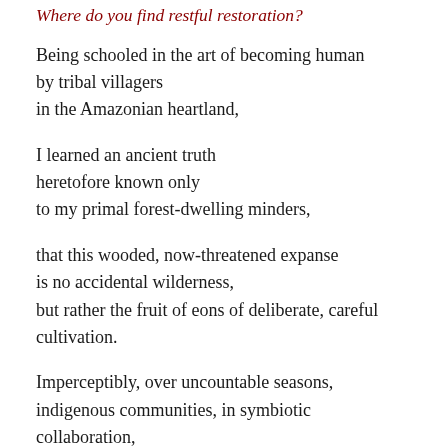Where do you find restful restoration?
Being schooled in the art of becoming human
by tribal villagers
in the Amazonian heartland,
I learned an ancient truth
heretofore known only
to my primal forest-dwelling minders,
that this wooded, now-threatened expanse
is no accidental wilderness,
but rather the fruit of eons of deliberate, careful
cultivation.
Imperceptibly, over uncountable seasons,
indigenous communities, in symbiotic
collaboration,
shaped dense forest into lush, overabundant